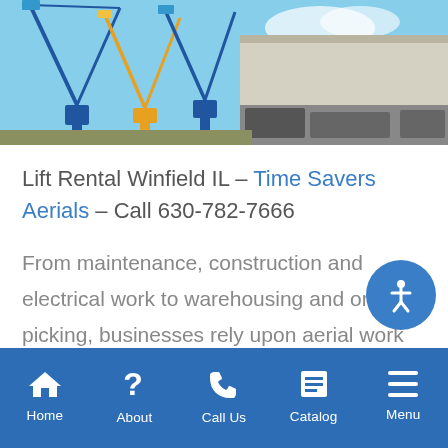[Figure (photo): Outdoor photo of multiple boom lifts and aerial work platform equipment against a blue sky, with a large warehouse building in the background.]
Lift Rental Winfield IL – Time Savers Aerials – Call 630-782-7666
From maintenance, construction and electrical work to warehousing and order picking, businesses rely upon aerial work platforms. To that end, if you're searching for a boom lift or scissor lift, you've come to the right source. Time S... Aerials is home to a giant selection of... work...
Home | About | Call Us | Catalog | Menu